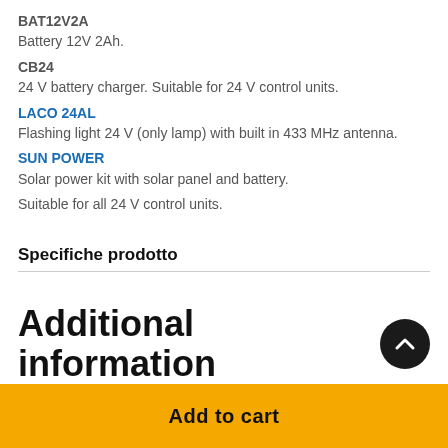BAT12V2A
Battery 12V 2Ah.
CB24
24 V battery charger. Suitable for 24 V control units.
LACO 24AL
Flashing light 24 V (only lamp) with built in 433 MHz antenna.
SUN POWER
Solar power kit with solar panel and battery.
Suitable for all 24 V control units.
Specifiche prodotto
Additional information
Add to cart